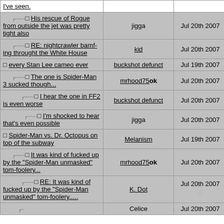| Title | User | Date | # |
| --- | --- | --- | --- |
| I've seen. |  |  |  |
| His rescue of Rogue from outside the jet was pretty tight also | jigga | Jul 20th 2007 | 44 |
| RE: nightcrawler bamf-ing throught the White House | kid | Jul 20th 2007 | 61 |
| every Stan Lee cameo ever | buckshot defunct | Jul 19th 2007 | 4 |
| The one is Spider-Man 3 sucked though... | mrhood75 ok | Jul 20th 2007 | 15 |
| I hear the one in FF2 is even worse | buckshot defunct | Jul 20th 2007 | 22 |
| I'm shocked to hear that's even possible | jigga | Jul 20th 2007 | 46 |
| Spider-Man vs. Dr. Octopus on top of the subway | Melanism | Jul 19th 2007 | 5 |
| It was kind of fucked up by the "Spider-Man unmasked" tom-foolery... | mrhood75 ok | Jul 20th 2007 | 16 |
| RE: It was kind of fucked up by the "Spider-Man unmasked" tom-foolery..... | K. Dot | Jul 20th 2007 | 36 |
| [partial] | Celice | Jul 20th 2007 | 62 |